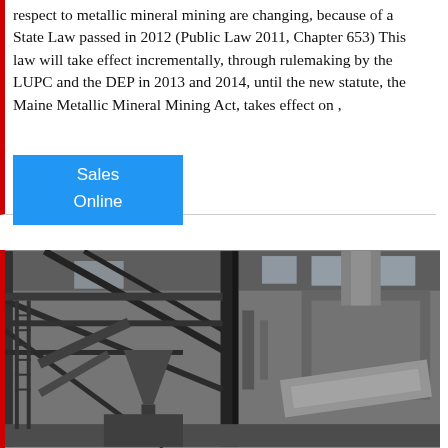respect to metallic mineral mining are changing, because of a State Law passed in 2012 (Public Law 2011, Chapter 653) This law will take effect incrementally, through rulemaking by the LUPC and the DEP in 2013 and 2014, until the new statute, the Maine Metallic Mineral Mining Act, takes effect on ,
Sales
Online
[Figure (photo): Industrial mining facility interior showing heavy machinery, conveyor systems, hoppers, pipes, and structural steel framework inside a large warehouse-type building with windows letting in natural light.]